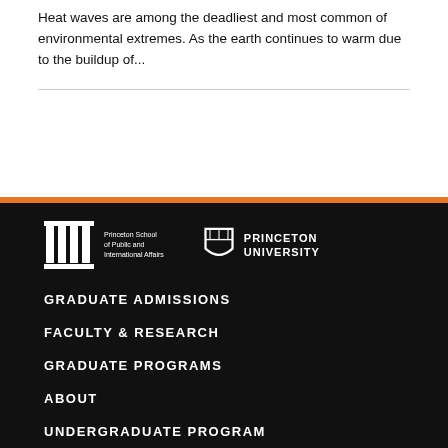Heat waves are among the deadliest and most common of environmental extremes. As the earth continues to warm due to the buildup of...
[Figure (logo): Princeton School of Public and International Affairs logo with column icon]
[Figure (logo): Princeton University logo with shield icon]
GRADUATE ADMISSIONS
FACULTY & RESEARCH
GRADUATE PROGRAMS
ABOUT
UNDERGRADUATE PROGRAM